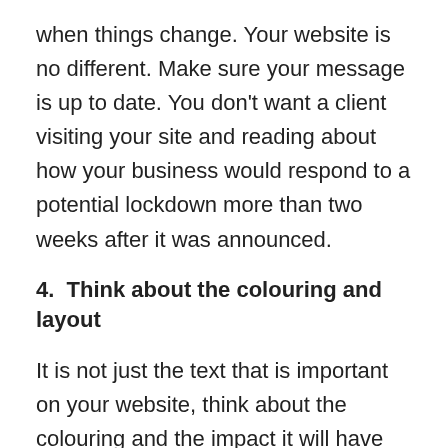when things change. Your website is no different. Make sure your message is up to date. You don't want a client visiting your site and reading about how your business would respond to a potential lockdown more than two weeks after it was announced.
4.  Think about the colouring and layout
It is not just the text that is important on your website, think about the colouring and the impact it will have on the way your clients will be feeling. Do